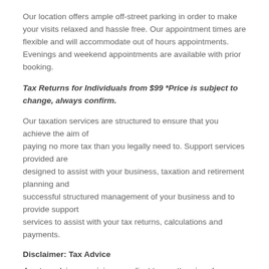Our location offers ample off-street parking in order to make your visits relaxed and hassle free. Our appointment times are flexible and will accommodate out of hours appointments. Evenings and weekend appointments are available with prior booking.
Tax Returns for Individuals from $99 *Price is subject to change, always confirm.
Our taxation services are structured to ensure that you achieve the aim of paying no more tax than you legally need to. Support services provided are designed to assist with your business, taxation and retirement planning and successful structured management of your business and to provide support services to assist with your tax returns, calculations and payments.
Disclaimer: Tax Advice
Any tax advice or opinions on client tax matters is only relevant to the